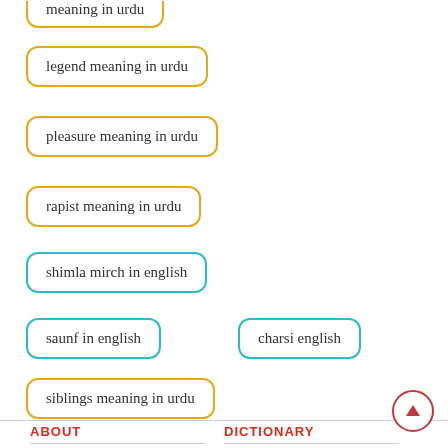[ partially visible ] meaning in urdu
legend meaning in urdu
pleasure meaning in urdu
rapist meaning in urdu
shimla mirch in english
saunf in english
charsi english
siblings meaning in urdu
cast meaning in urdu
ABOUT   Home   DICTIONARY   Dictionary